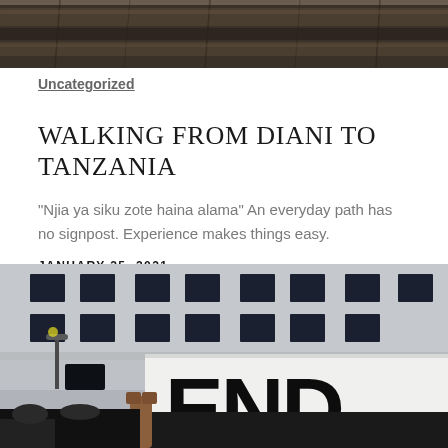[Figure (photo): Top portion of a photograph showing dark wooden beams or overhang structure with dark tones]
Uncategorized
WALKING FROM DIANI TO TANZANIA
“Njia ya siku zote haina alama” An everyday path has no signpost. Experience makes things easy.
JANUARY 25, 2021
[Figure (photo): Photograph of a person holding a large white sign with bold black letters reading 'END' (and more text cut off), with a classical building facade visible in the background]